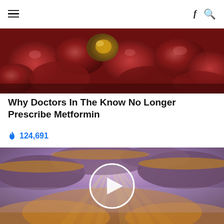≡  f 🔍
[Figure (photo): Close-up photo of kidney stones or similar organ tissue with reddish-brown stones]
Why Doctors In The Know No Longer Prescribe Metformin
🔥 124,691
[Figure (screenshot): Video thumbnail showing dramatic sunset clouds with sunbeams breaking through, with a white circular play button overlay in the center]